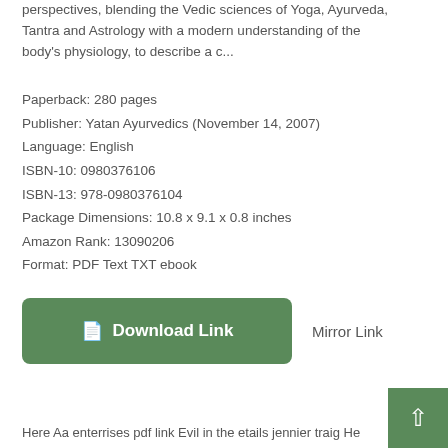perspectives, blending the Vedic sciences of Yoga, Ayurveda, Tantra and Astrology with a modern understanding of the body's physiology, to describe a c...
Paperback: 280 pages
Publisher: Yatan Ayurvedics (November 14, 2007)
Language: English
ISBN-10: 0980376106
ISBN-13: 978-0980376104
Package Dimensions: 10.8 x 9.1 x 0.8 inches
Amazon Rank: 13090206
Format: PDF Text TXT ebook
[Figure (other): Green download button labeled 'Download Link' with a document icon, and a 'Mirror Link' text link beside it]
Here Aa enterrises pdf link Evil in the etails jennier traig He